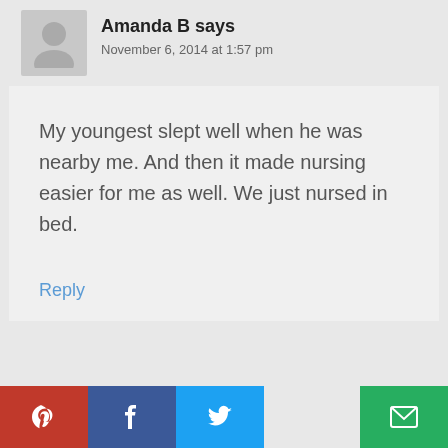Amanda B says
November 6, 2014 at 1:57 pm
My youngest slept well when he was nearby me. And then it made nursing easier for me as well. We just nursed in bed.
Reply
[Figure (other): Social share buttons: Pinterest (red), Facebook (dark blue), Twitter (light blue), Email (green)]